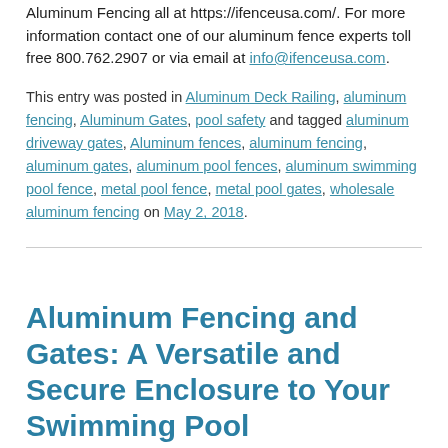Aluminum Fencing all at https://ifenceusa.com/. For more information contact one of our aluminum fence experts toll free 800.762.2907 or via email at info@ifenceusa.com.
This entry was posted in Aluminum Deck Railing, aluminum fencing, Aluminum Gates, pool safety and tagged aluminum driveway gates, Aluminum fences, aluminum fencing, aluminum gates, aluminum pool fences, aluminum swimming pool fence, metal pool fence, metal pool gates, wholesale aluminum fencing on May 2, 2018.
Aluminum Fencing and Gates: A Versatile and Secure Enclosure to Your Swimming Pool
If your backyard features a swimming pool it is crucial that